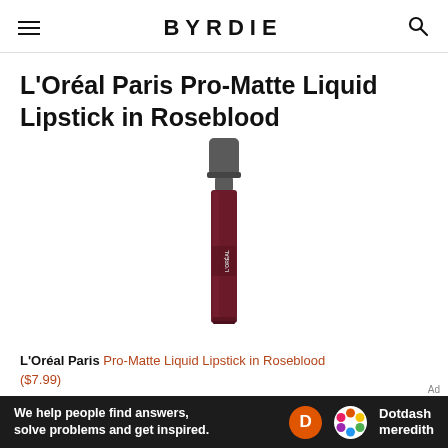BYRDIE
L'Oréal Paris Pro-Matte Liquid Lipstick in Roseblood
[Figure (photo): L'Oréal Paris Pro-Matte Liquid Lipstick in Roseblood — a slim dark burgundy/wine colored liquid lipstick tube with a dark grey cap, shown on white background]
L'Oréal Paris Pro-Matte Liquid Lipstick in Roseblood ($7.99)
[Figure (logo): Dotdash Meredith ad banner — dark background with orange D circle logo, colorful flower/dot logo, and text: We help people find answers, solve problems and get inspired. Dotdash meredith]